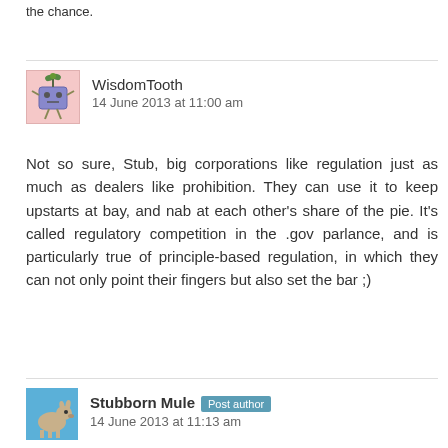the chance.
WisdomTooth
14 June 2013 at 11:00 am
Not so sure, Stub, big corporations like regulation just as much as dealers like prohibition. They can use it to keep upstarts at bay, and nab at each other's share of the pie. It's called regulatory competition in the .gov parlance, and is particularly true of principle-based regulation, in which they can not only point their fingers but also set the bar ;)
Stubborn Mule Post author
14 June 2013 at 11:13 am